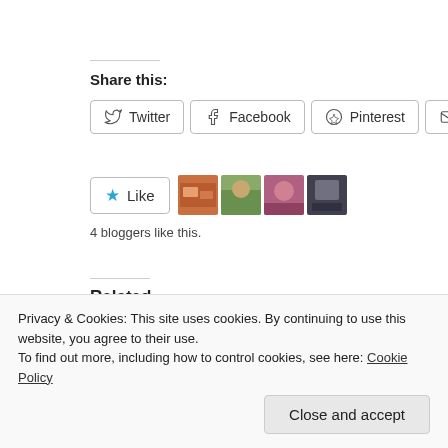Share this:
Twitter  Facebook  Pinterest  Print  Email
[Figure (other): Like button with star icon and 4 blogger thumbnail profile pictures]
4 bloggers like this.
Related
8 Skin-protecting Foods to Keep your Family Safe
May 4, 2015
Supreme Veggie Burger
Privacy & Cookies: This site uses cookies. By continuing to use this website, you agree to their use.
To find out more, including how to control cookies, see here: Cookie Policy
Close and accept